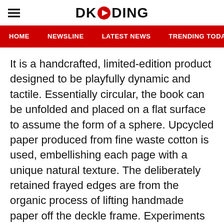DKODING
HOME   NEWSLINE   LATEST NEWS   TRENDING TODAY   ENT
It is a handcrafted, limited-edition product designed to be playfully dynamic and tactile. Essentially circular, the book can be unfolded and placed on a flat surface to assume the form of a sphere. Upcycled paper produced from fine waste cotton is used, embellishing each page with a unique natural texture. The deliberately retained frayed edges are from the organic process of lifting handmade paper off the deckle frame. Experiments with different hand-binding techniques led to the book being glued at the spine for strength and longevity. The hand-dyed red cotton